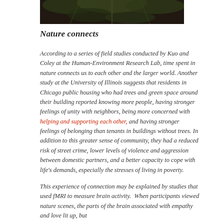[Figure (photo): Close-up photograph of plant leaves (cannabis or similar), dark green foliage against dark background]
Nature connects
According to a series of field studies conducted by Kuo and Coley at the Human-Environment Research Lab, time spent in nature connects us to each other and the larger world. Another study at the University of Illinois suggests that residents in Chicago public housing who had trees and green space around their building reported knowing more people, having stronger feelings of unity with neighbors, being more concerned with helping and supporting each other, and having stronger feelings of belonging than tenants in buildings without trees. In addition to this greater sense of community, they had a reduced risk of street crime, lower levels of violence and aggression between domestic partners, and a better capacity to cope with life's demands, especially the stresses of living in poverty.
This experience of connection may be explained by studies that used fMRI to measure brain activity. When participants viewed nature scenes, the parts of the brain associated with empathy and love lit up, but